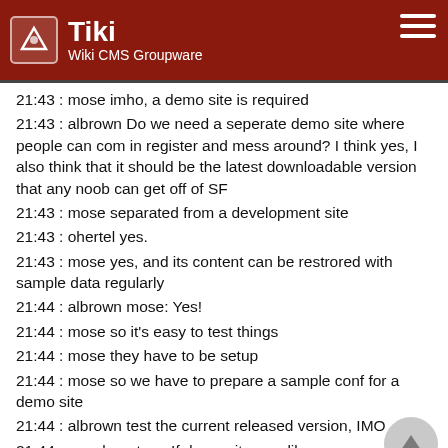Tiki Wiki CMS Groupware
21:43 : mose imho, a demo site is required
21:43 : albrown Do we need a seperate demo site where people can com in register and mess around? I think yes, I also think that it should be the latest downloadable version that any noob can get off of SF
21:43 : mose separated from a development site
21:43 : ohertel yes.
21:43 : mose yes, and its content can be restrored with sample data regularly
21:44 : albrown mose: Yes!
21:44 : mose so it's easy to test things
21:44 : mose they have to be setup
21:44 : mose so we have to prepare a sample conf for a demo site
21:44 : albrown test the current released version, IMO
21:44 : marclaporte__ If demo site was like: